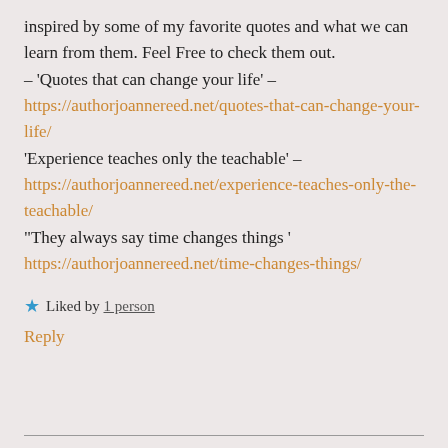inspired by some of my favorite quotes and what we can learn from them. Feel Free to check them out.
– 'Quotes that can change your life' –
https://authorjoannereed.net/quotes-that-can-change-your-life/
'Experience teaches only the teachable' –
https://authorjoannereed.net/experience-teaches-only-the-teachable/
"They always say time changes things '
https://authorjoannereed.net/time-changes-things/
★ Liked by 1 person
Reply